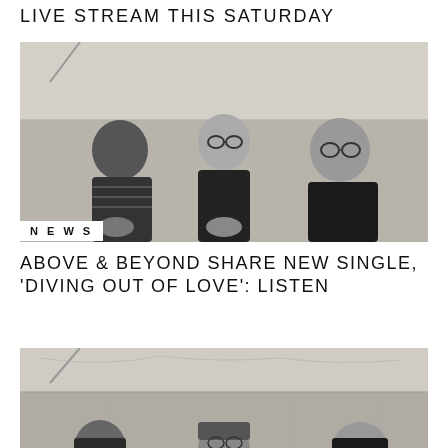LIVE STREAM THIS SATURDAY
[Figure (photo): Black and white photo of three people (Above & Beyond band members) seated against a wood-paneled wall]
NEWS
ABOVE & BEYOND SHARE NEW SINGLE, 'DIVING OUT OF LOVE': LISTEN
[Figure (photo): Black and white photo of band members, partially visible, same wood-panel background]